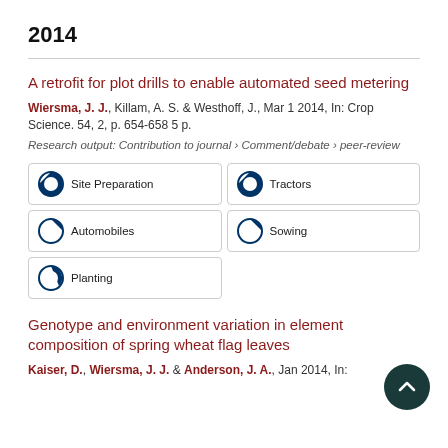2014
A retrofit for plot drills to enable automated seed metering
Wiersma, J. J., Killam, A. S. & Westhoff, J., Mar 1 2014, In: Crop Science. 54, 2, p. 654-658 5 p.
Research output: Contribution to journal › Comment/debate › peer-review
Site Preparation
Tractors
Automobiles
Sowing
Planting
Genotype and environment variation in element composition of spring wheat flag leaves
Kaiser, D., Wiersma, J. J. & Anderson, J. A., Jan 2014, In: